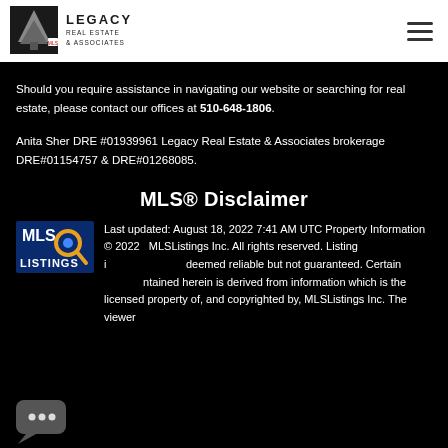Legacy Real Estate & Associates
Should you require assistance in navigating our website or searching for real estate, please contact our offices at 510-648-1806.
Anita Sher DRE #01939961 Legacy Real Estate & Associates brokerage DRE#01154757 & DRE#01268085.
MLS® Disclaimer
[Figure (logo): MLSListings logo — blue and orange magnifying glass with MLS Listings text]
Last updated: August 18, 2022 7:41 AM UTC Property Information © 2022   MLSListings Inc. All rights reserved. Listing information deemed reliable but not guaranteed. Certain information contained herein is derived from information which is the licensed property of, and copyrighted by, MLSListings Inc. The viewer